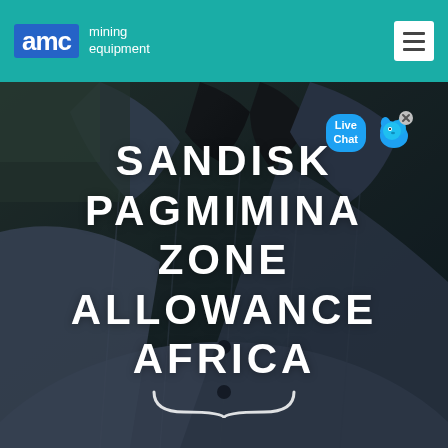AMC mining equipment
[Figure (photo): Background photo of a person in a dark grey suit jacket, torso view. Large white bold uppercase text overlay reads: SANDISK PAGMIMINA ZONE ALLOWANCE AFRICA. A live chat bubble is visible in the upper right. A decorative curly brace appears at the bottom center.]
SANDISK PAGMIMINA ZONE ALLOWANCE AFRICA